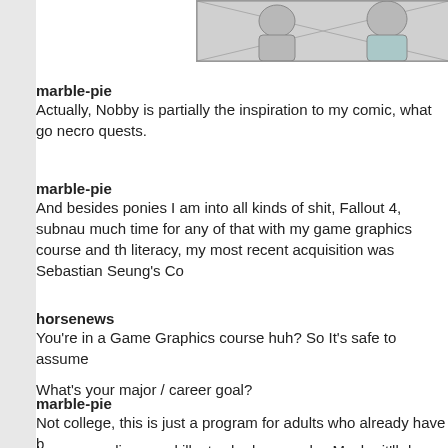[Figure (illustration): Partial comic illustration showing two characters in grayscale with light blue accent, cropped at the top right]
marble-pie
Actually, Nobby is partially the inspiration to my comic, what go necro quests.
marble-pie
And besides ponies I am into all kinds of shit, Fallout 4, subnau much time for any of that with my game graphics course and th literacy, my most recent acquisition was Sebastian Seung's Co
horsenews
You're in a Game Graphics course huh? So It's safe to assume

What's your major / career goal?
marble-pie
Not college, this is just a program for adults who already have b
I am expanding my skillset, who knows why, Maybe it'll do me s